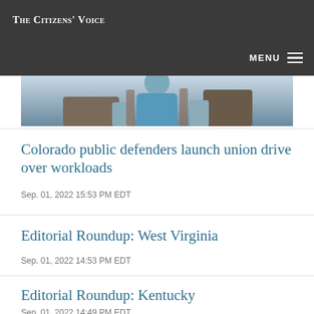The Citizens' Voice
[Figure (photo): Partial photo of a person in a blue shirt seated in a chair, cropped at top]
Colorado public defenders launch union drive over workloads
Sep. 01, 2022 15:53 PM EDT
Editorial Roundup: West Virginia
Sep. 01, 2022 14:53 PM EDT
Editorial Roundup: Kentucky
Sep. 01, 2022 14:49 PM EDT